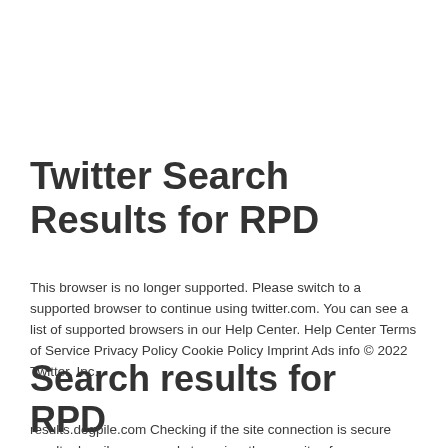Twitter Search Results for RPD
This browser is no longer supported. Please switch to a supported browser to continue using twitter.com. You can see a list of supported browsers in our Help Center. Help Center Terms of Service Privacy Policy Cookie Policy Imprint Ads info © 2022 Twitter, Inc.
Search results for RPD
results.dogpile.com Checking if the site connection is secure results.dogpile.com needs to review the security of your